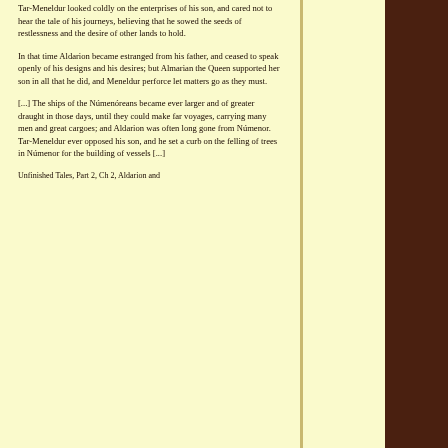Tar-Meneldur looked coldly on the enterprises of his son, and cared not to hear the tale of his journeys, believing that he sowed the seeds of restlessness and the desire of other lands to hold.
In that time Aldarion became estranged from his father, and ceased to speak openly of his designs and his desires; but Almarian the Queen supported her son in all that he did, and Meneldur perforce let matters go as they must.
[...] The ships of the Númenóreans became ever larger and of greater draught in those days, until they could make far voyages, carrying many men and great cargoes; and Aldarion was often long gone from Númenor. Tar-Meneldur ever opposed his son, and he set a curb on the felling of trees in Númenor for the building of vessels [...]
Unfinished Tales, Part 2, Ch 2, Aldarion and...